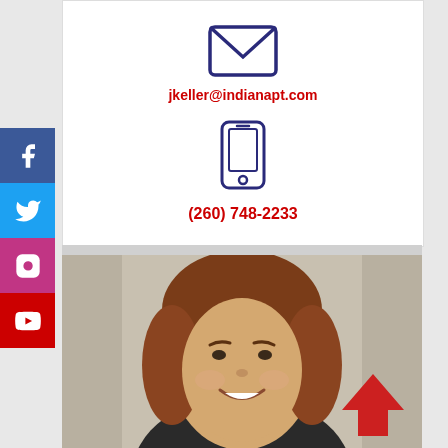jkeller@indianapt.com
(260) 748-2233
[Figure (photo): Professional headshot of a woman with reddish-brown hair, smiling, wearing a dark top, against a neutral gray background]
[Figure (infographic): Social media sidebar with Facebook, Twitter, Instagram, and YouTube icon buttons in their respective brand colors]